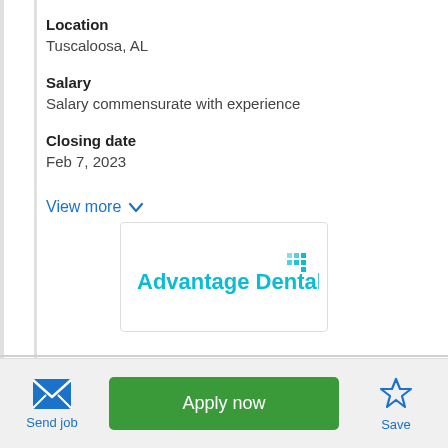Location
Tuscaloosa, AL
Salary
Salary commensurate with experience
Closing date
Feb 7, 2023
View more
[Figure (logo): Advantage Dental logo with teal text and dot-matrix icon]
Send job | Apply now | Save